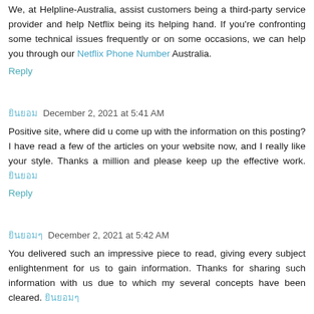We, at Helpline-Australia, assist customers being a third-party service provider and help Netflix being its helping hand. If you're confronting some technical issues frequently or on some occasions, we can help you through our Netflix Phone Number Australia.
Reply
ยินยอม December 2, 2021 at 5:41 AM
Positive site, where did u come up with the information on this posting?I have read a few of the articles on your website now, and I really like your style. Thanks a million and please keep up the effective work. ยินยอม
Reply
ยินยอมๆ December 2, 2021 at 5:42 AM
You delivered such an impressive piece to read, giving every subject enlightenment for us to gain information. Thanks for sharing such information with us due to which my several concepts have been cleared. ยินยอมๆ